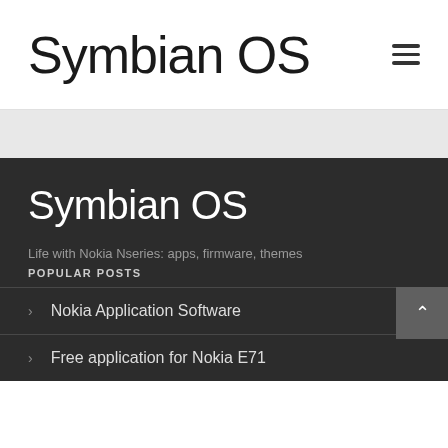Symbian OS
Symbian OS
Life with Nokia Nseries: apps, firmware, themes
POPULAR POSTS
Nokia Application Software
Free application for Nokia E71